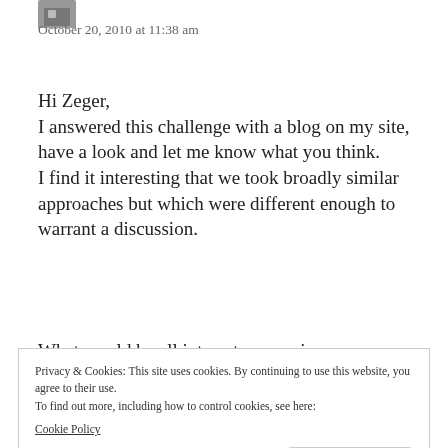October 20, 2010 at 11:38 am
Hi Zeger,
I answered this challenge with a blog on my site, have a look and let me know what you think.
I find it interesting that we took broadly similar approaches but which were different enough to warrant a discussion.
Privacy & Cookies: This site uses cookies. By continuing to use this website, you agree to their use.
To find out more, including how to control cookies, see here:
Cookie Policy
Close and accept
Reply